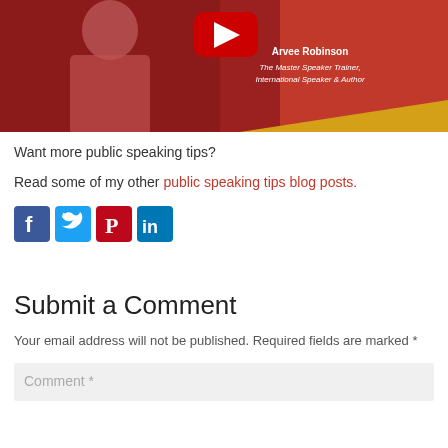[Figure (screenshot): YouTube video thumbnail showing a woman in a red dress with a YouTube play button overlay. Text overlay reads 'Arvee Robinson, The Master Speaker Trainer, International Speaker & Author'. Red and gold background.]
Want more public speaking tips?
Read some of my other public speaking tips blog posts.
[Figure (infographic): Social media share icons: Facebook (blue), Twitter (light blue), Pinterest (red), LinkedIn (blue)]
Submit a Comment
Your email address will not be published. Required fields are marked *
Comment *